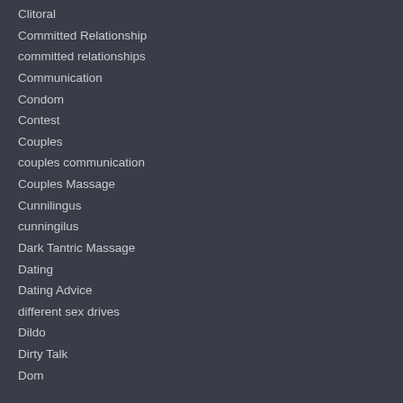Clitoral
Committed Relationship
committed relationships
Communication
Condom
Contest
Couples
couples communication
Couples Massage
Cunnilingus
cunningilus
Dark Tantric Massage
Dating
Dating Advice
different sex drives
Dildo
Dirty Talk
Dom